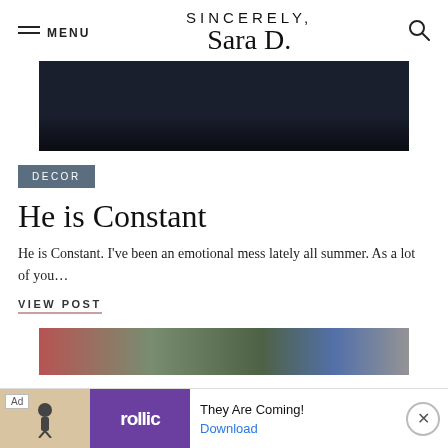MENU | SINCERELY, Sara D. | [search]
[Figure (photo): Dark navy/black hero image, nearly solid dark background]
DECOR
He is Constant
He is Constant. I've been an emotional mess lately all summer. As a lot of you…
VIEW POST
[Figure (photo): Partial bottom image showing outdoor scene with people and colorful buildings]
Ad | rollic | They Are Coming! | Download